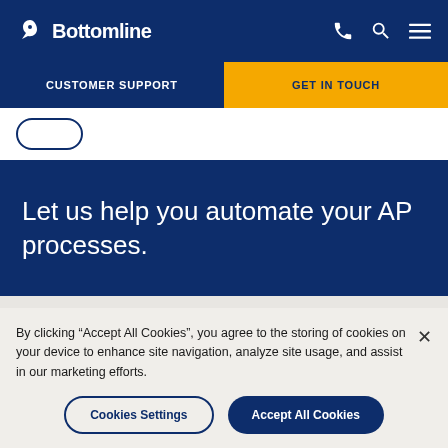Bottomline
CUSTOMER SUPPORT
GET IN TOUCH
Let us help you automate your AP processes.
By clicking “Accept All Cookies”, you agree to the storing of cookies on your device to enhance site navigation, analyze site usage, and assist in our marketing efforts.
Cookies Settings
Accept All Cookies